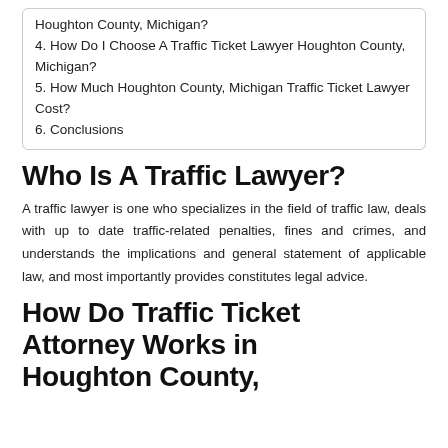Houghton County, Michigan?
4. How Do I Choose A Traffic Ticket Lawyer Houghton County, Michigan?
5. How Much Houghton County, Michigan Traffic Ticket Lawyer Cost?
6. Conclusions
Who Is A Traffic Lawyer?
A traffic lawyer is one who specializes in the field of traffic law, deals with up to date traffic-related penalties, fines and crimes, and understands the implications and general statement of applicable law, and most importantly provides constitutes legal advice.
How Do Traffic Ticket Attorney Works in Houghton County,